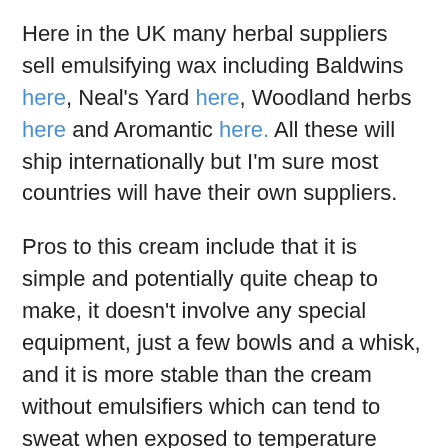Here in the UK many herbal suppliers sell emulsifying wax including Baldwins here, Neal's Yard here, Woodland herbs here and Aromantic here. All these will ship internationally but I'm sure most countries will have their own suppliers.
Pros to this cream include that it is simple and potentially quite cheap to make, it doesn't involve any special equipment, just a few bowls and a whisk, and it is more stable than the cream without emulsifiers which can tend to sweat when exposed to temperature fluctuations.
Cons are that it is not completely natural and can sometimes tend to leave a slight residue behind when massaged into the skin. With this recipe it's important to use a preservative because it has a high water content and will potentially go off quite quickly.